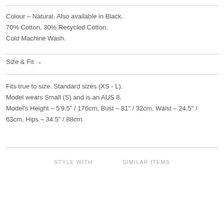Colour – Natural. Also available in Black.
70% Cotton, 30% Recycled Cotton.
Cold Machine Wash.
Size & Fit ∨
Fits true to size. Standard sizes (XS - L).
Model wears Small (S) and is an AUS 8.
Model's Height – 5'9.5" / 176cm, Bust – 81" / 32cm, Waist – 24.5" / 63cm, Hips – 34.5" / 88cm.
STYLE WITH     SIMILAR ITEMS